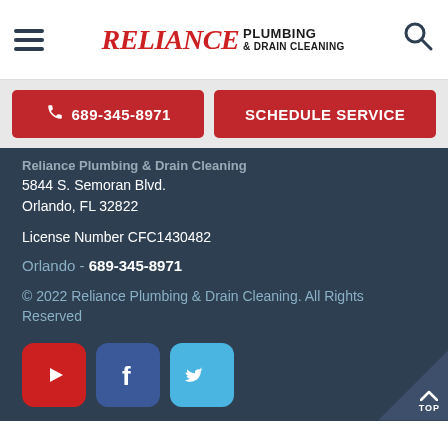[Figure (logo): Reliance Plumbing & Drain Cleaning logo with hamburger menu icon on left and search icon on right]
689-345-8971  SCHEDULE SERVICE
Reliance Plumbing & Drain Cleaning
5844 S. Semoran Blvd.
Orlando, FL 32822
License Number CFC1430482
Orlando - 689-345-8971
© 2022 Reliance Plumbing & Drain Cleaning. All Rights Reserved
[Figure (illustration): Social media icons: YouTube (red), Facebook (blue), Twitter (light blue)]